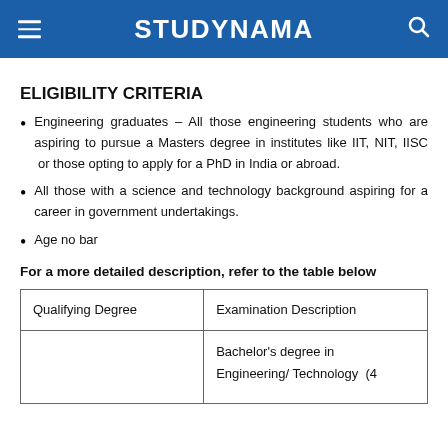STUDYNAMA
ELIGIBILITY CRITERIA
Engineering graduates – All those engineering students who are aspiring to pursue a Masters degree in institutes like IIT, NIT, IISC or those opting to apply for a PhD in India or abroad.
All those with a science and technology background aspiring for a career in government undertakings.
Age no bar
For a more detailed description, refer to the table below
| Qualifying Degree | Examination Description |
| --- | --- |
|  | Bachelor's degree in Engineering/ Technology (4 |